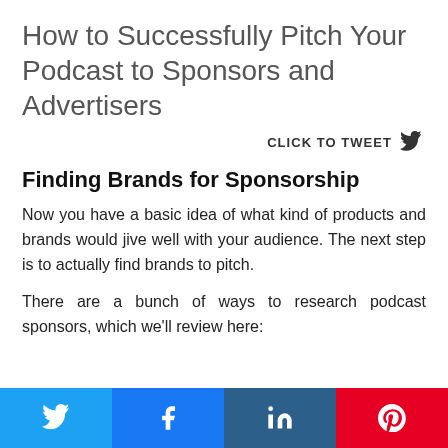How to Successfully Pitch Your Podcast to Sponsors and Advertisers
CLICK TO TWEET
Finding Brands for Sponsorship
Now you have a basic idea of what kind of products and brands would jive well with your audience. The next step is to actually find brands to pitch.
There are a bunch of ways to research podcast sponsors, which we'll review here: